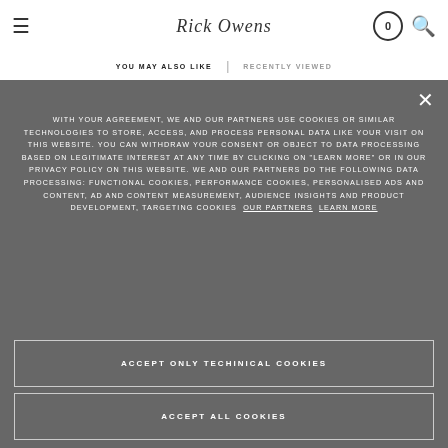Rick Owens — navigation header with hamburger menu, logo, cart (0), and search icons
YOU MAY ALSO LIKE | RECENTLY VIEWED
WITH YOUR AGREEMENT, WE AND OUR PARTNERS USE COOKIES OR SIMILAR TECHNOLOGIES TO STORE, ACCESS, AND PROCESS PERSONAL DATA LIKE YOUR VISIT ON THIS WEBSITE. YOU CAN WITHDRAW YOUR CONSENT OR OBJECT TO DATA PROCESSING BASED ON LEGITIMATE INTEREST AT ANY TIME BY CLICKING ON "LEARN MORE" OR IN OUR PRIVACY POLICY ON THIS WEBSITE. WE AND OUR PARTNERS DO THE FOLLOWING DATA PROCESSING: FUNCTIONAL COOKIES, PERFORMANCE COOKIES, PERSONALISED ADS AND CONTENT, AD AND CONTENT MEASUREMENT, AUDIENCE INSIGHTS AND PRODUCT DEVELOPMENT, TARGETING COOKIES OUR PARTNERS LEARN MORE
ACCEPT ONLY TECHINICAL COOKIES
ACCEPT ALL COOKIES